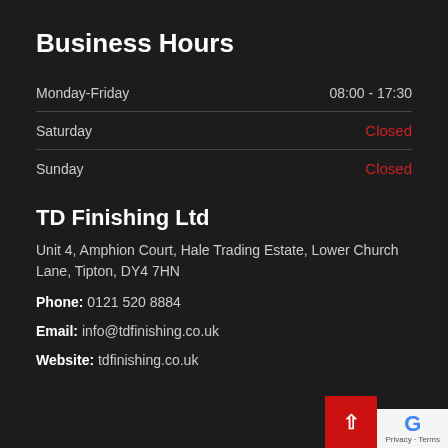Business Hours
Monday-Friday   08:00 - 17:30
Saturday   Closed
Sunday   Closed
TD Finishing Ltd
Unit 4, Amphion Court, Hale Trading Estate, Lower Church Lane, Tipton, DY4 7HN
Phone: 0121 520 8884
Email: info@tdfinishing.co.uk
Website: tdfinishing.co.uk